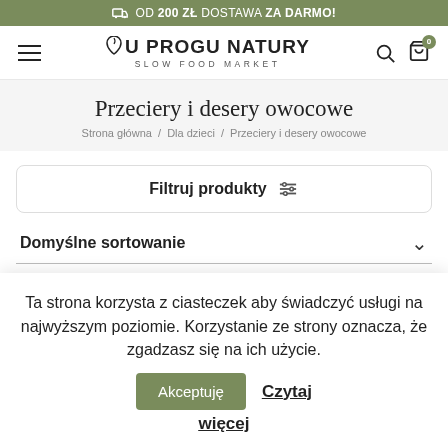OD 200 ZŁ DOSTAWA ZA DARMO!
[Figure (logo): U Progu Natury Slow Food Market logo with hamburger menu, search icon, and cart icon showing 0 items]
Przeciery i desery owocowe
Strona główna / Dla dzieci / Przeciery i desery owocowe
Filtruj produkty
Domyślne sortowanie
Ta strona korzysta z ciasteczek aby świadczyć usługi na najwyższym poziomie. Korzystanie ze strony oznacza, że zgadzasz się na ich użycie. Akceptuję Czytaj więcej